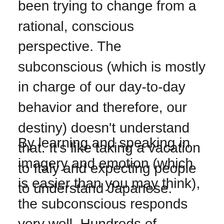been trying to change from a rational, conscious perspective. The subconscious (which is mostly in charge of our day-to-day behavior and therefore, our destiny) doesn't understand that. It's like taking a vacation to Italy and expecting people to understand Japanese.
By learning and speaking in imagery and emotion (which is easier than you may think), the subconscious responds very well. Hundreds of techniques show you how to quickly locate areas that need changing (aka healing) and release old patterns, which allows newer, better ones to appear in their place and into their own are quality of life